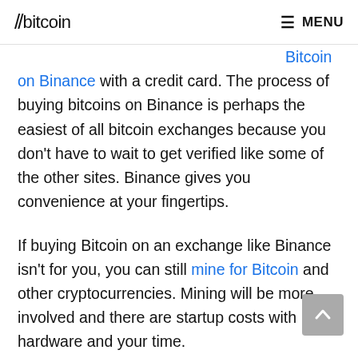//bitcoin   MENU
In these five simple steps you can buy Bitcoin on Binance with a credit card. The process of buying bitcoins on Binance is perhaps the easiest of all bitcoin exchanges because you don't have to wait to get verified like some of the other sites. Binance gives you convenience at your fingertips.
If buying Bitcoin on an exchange like Binance isn't for you, you can still mine for Bitcoin and other cryptocurrencies. Mining will be more involved and there are startup costs with hardware and your time.
The setup will take time, as well as mining for a